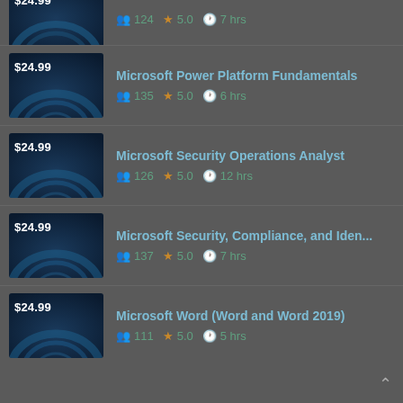$24.99 | 124 | 5.0 | 7 hrs (partial top item)
Microsoft Power Platform Fundamentals | $24.99 | 135 | 5.0 | 6 hrs
Microsoft Security Operations Analyst | $24.99 | 126 | 5.0 | 12 hrs
Microsoft Security, Compliance, and Iden... | $24.99 | 137 | 5.0 | 7 hrs
Microsoft Word (Word and Word 2019) | $24.99 | 111 | 5.0 | 5 hrs